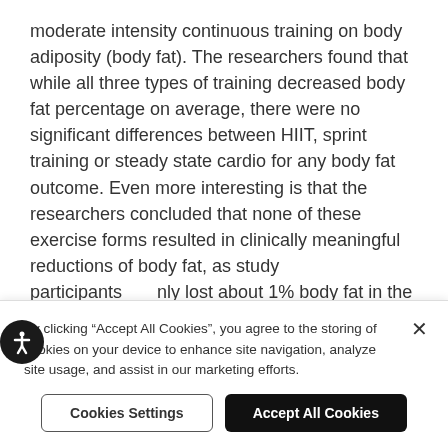moderate intensity continuous training on body adiposity (body fat). The researchers found that while all three types of training decreased body fat percentage on average, there were no significant differences between HIIT, sprint training or steady state cardio for any body fat outcome. Even more interesting is that the researchers concluded that none of these exercise forms resulted in clinically meaningful reductions of body fat, as study participants only lost about 1% body fat in the studies.
How could a meta-analysis of 31 studies with a minimum 4-week exercise intervention result in a finding that HIIT...
By clicking "Accept All Cookies", you agree to the storing of cookies on your device to enhance site navigation, analyze site usage, and assist in our marketing efforts.